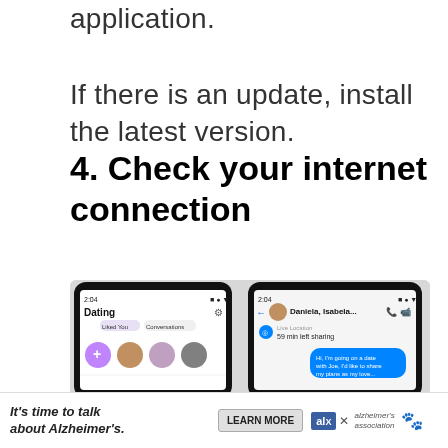application.
If there is an update, install the latest version.
4. Check your internet connection
[Figure (screenshot): Two smartphone screenshots side by side showing Facebook Dating app and a Messenger conversation with Daniela, Isabela. Left phone shows Dating screen with Liked You, Conversations tabs and profile photos. Right phone shows a chat with Live Location and a message 'Hi, I'm going on a date with Joe, I'd like to share my plans as my love...']
It's time to talk about Alzheimer's.   LEARN MORE   alzheimer's association  ✕